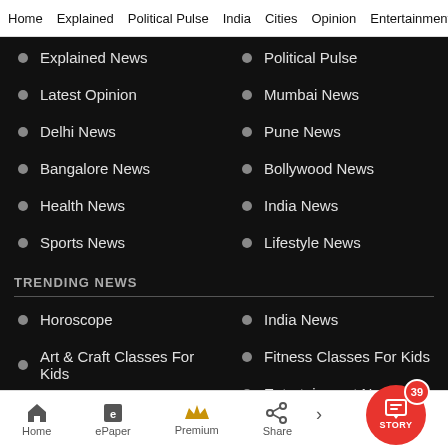Home  Explained  Political Pulse  India  Cities  Opinion  Entertainment
Explained News
Political Pulse
Latest Opinion
Mumbai News
Delhi News
Pune News
Bangalore News
Bollywood News
Health News
India News
Sports News
Lifestyle News
TRENDING NEWS
Horoscope
India News
Art & Craft Classes For Kids
Fitness Classes For Kids
Dance Classes For Kids
Entertainment News
Home  ePaper  Premium  Share  STORY